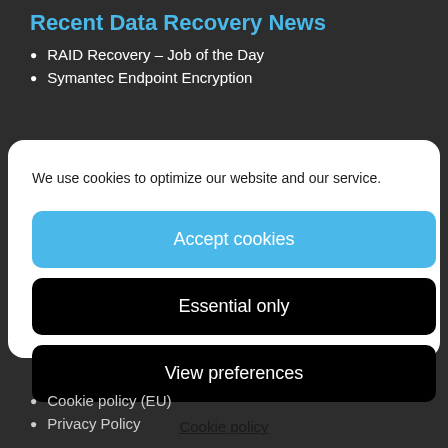Recent Data Recovery News
RAID Recovery – Job of the Day
Symantec Endpoint Encryption
We use cookies to optimize our website and our service.
Accept cookies
Essential only
View preferences
Cookie policy
Cookie policy (EU)
Privacy Policy